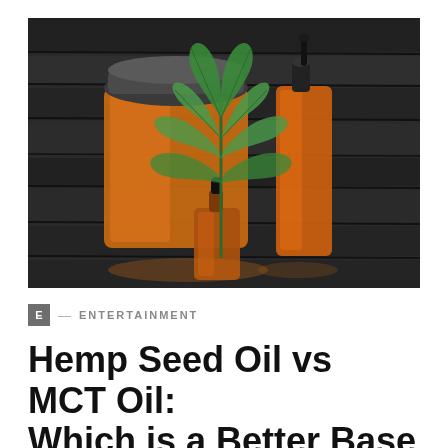[Figure (photo): Photo of amber/orange bottles of CBD hemp oil with green cannabis/hemp leaves on a dark wooden background. Shows a large jar, a spray bottle, and a small dropper bottle arranged together.]
E — ENTERTAINMENT
Hemp Seed Oil vs MCT Oil: Which is a Better Base in